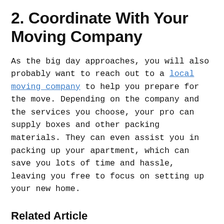2. Coordinate With Your Moving Company
As the big day approaches, you will also probably want to reach out to a local moving company to help you prepare for the move. Depending on the company and the services you choose, your pro can supply boxes and other packing materials. They can even assist you in packing up your apartment, which can save you lots of time and hassle, leaving you free to focus on setting up your new home.
Related Article
[Figure (photo): A bright thumbnail image placeholder]
Ease Your Move by Hiring a Moving